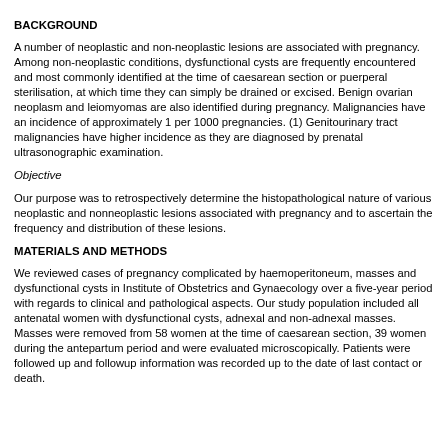BACKGROUND
A number of neoplastic and non-neoplastic lesions are associated with pregnancy. Among non-neoplastic conditions, dysfunctional cysts are frequently encountered and most commonly identified at the time of caesarean section or puerperal sterilisation, at which time they can simply be drained or excised. Benign ovarian neoplasm and leiomyomas are also identified during pregnancy. Malignancies have an incidence of approximately 1 per 1000 pregnancies. (1) Genitourinary tract malignancies have higher incidence as they are diagnosed by prenatal ultrasonographic examination.
Objective
Our purpose was to retrospectively determine the histopathological nature of various neoplastic and nonneoplastic lesions associated with pregnancy and to ascertain the frequency and distribution of these lesions.
MATERIALS AND METHODS
We reviewed cases of pregnancy complicated by haemoperitoneum, masses and dysfunctional cysts in Institute of Obstetrics and Gynaecology over a five-year period with regards to clinical and pathological aspects. Our study population included all antenatal women with dysfunctional cysts, adnexal and non-adnexal masses. Masses were removed from 58 women at the time of caesarean section, 39 women during the antepartum period and were evaluated microscopically. Patients were followed up and followup information was recorded up to the date of last contact or death.